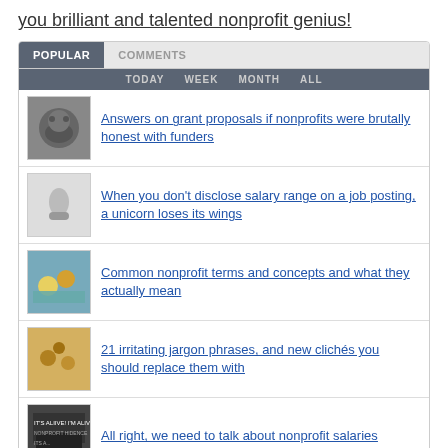you brilliant and talented nonprofit genius!
Answers on grant proposals if nonprofits were brutally honest with funders
When you don't disclose salary range on a job posting, a unicorn loses its wings
Common nonprofit terms and concepts and what they actually mean
21 irritating jargon phrases, and new clichés you should replace them with
All right, we need to talk about nonprofit salaries
21 things you can do to be more respectful of Native American cultures